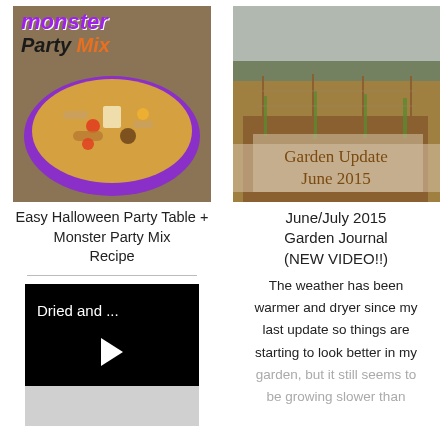[Figure (photo): Monster Party Mix food recipe image with purple bowl of snack mix and decorative overlay text reading 'monster Party Mix']
Easy Halloween Party Table + Monster Party Mix Recipe
[Figure (screenshot): Video thumbnail with black background showing 'Dried and ...' text and a play button, with grey bar below]
[Figure (photo): Garden photo showing planted rows in a field with overlay text 'Garden Update June 2015']
June/July 2015 Garden Journal (NEW VIDEO!!)
The weather has been warmer and dryer since my last update so things are starting to look better in my garden, but it still seems to be growing slower than